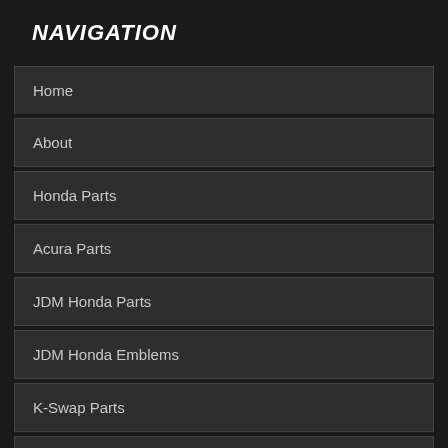NAVIGATION
Home
About
Honda Parts
Acura Parts
JDM Honda Parts
JDM Honda Emblems
K-Swap Parts
Parts By Make
Clearance
Our Blog
FAQs